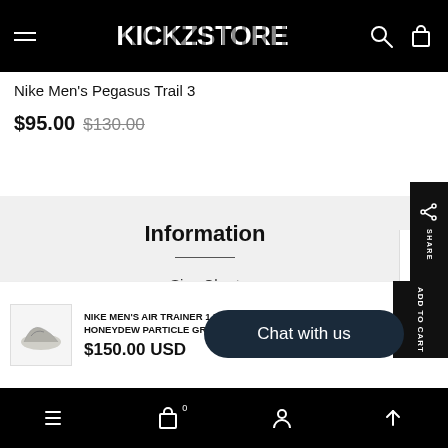KICKZSTORE
Nike Men's Pegasus Trail 3
$95.00 $130.00
Information
Size Chart
NIKE MEN'S AIR TRAINER 1 UTILITY SP LIGHT SMOKE GREY HONEYDEW PARTICLE GREY
$150.00 USD
ADD TO CART
SHARE
Chat with us
bottom navigation bar